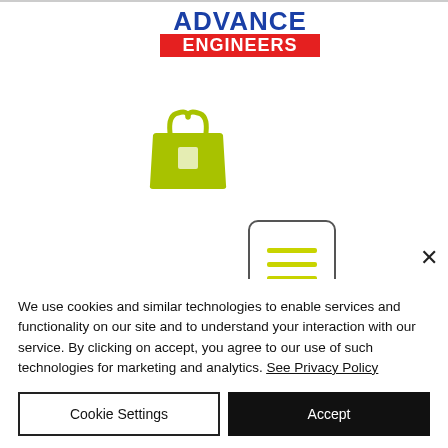[Figure (logo): Advance Engineers logo with blue text 'ADVANCE' and red background 'ENGINEERS']
[Figure (illustration): Green shopping bag icon with a small white rectangular window]
[Figure (illustration): White rounded square box with three yellow-green horizontal hamburger menu lines]
×
We use cookies and similar technologies to enable services and functionality on our site and to understand your interaction with our service. By clicking on accept, you agree to our use of such technologies for marketing and analytics. See Privacy Policy
Cookie Settings
Accept